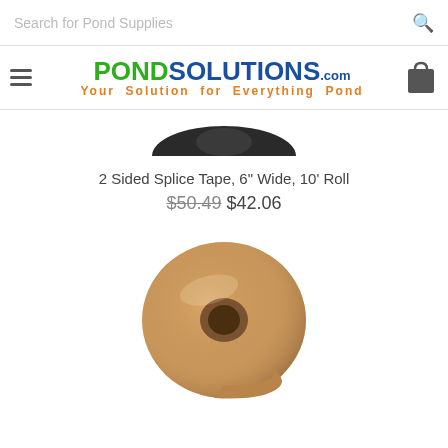Search for Pond Supplies
[Figure (logo): PondSolutions.com logo with tagline 'Your Solution for Everything Pond']
[Figure (photo): Partial image of a black splice tape roll from above, cropped at top]
2 Sided Splice Tape, 6" Wide, 10' Roll
$50.49 $42.06
[Figure (photo): Roll of tan/brown splice tape shown from the side on white background]